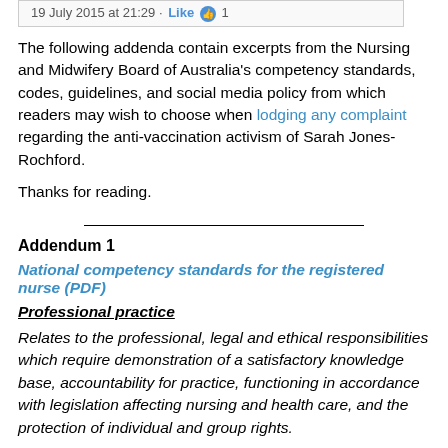19 July 2015 at 21:29 · Like · 1
The following addenda contain excerpts from the Nursing and Midwifery Board of Australia's competency standards, codes, guidelines, and social media policy from which readers may wish to choose when lodging any complaint regarding the anti-vaccination activism of Sarah Jones-Rochford.
Thanks for reading.
Addendum 1
National competency standards for the registered nurse (PDF)
Professional practice
Relates to the professional, legal and ethical responsibilities which require demonstration of a satisfactory knowledge base, accountability for practice, functioning in accordance with legislation affecting nursing and health care, and the protection of individual and group rights.
1 Practises in accordance with legislation affecting nursing practice and health care